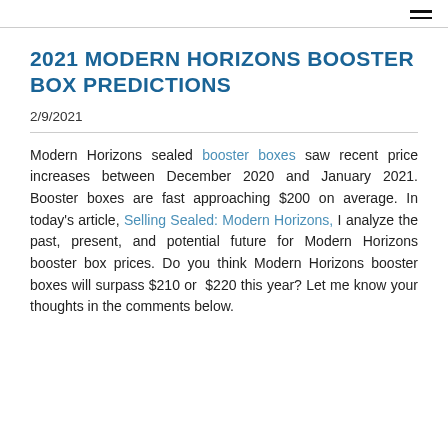≡
2021 MODERN HORIZONS BOOSTER BOX PREDICTIONS
2/9/2021
Modern Horizons sealed booster boxes saw recent price increases between December 2020 and January 2021. Booster boxes are fast approaching $200 on average. In today's article, Selling Sealed: Modern Horizons, I analyze the past, present, and potential future for Modern Horizons booster box prices. Do you think Modern Horizons booster boxes will surpass $210 or $220 this year? Let me know your thoughts in the comments below.